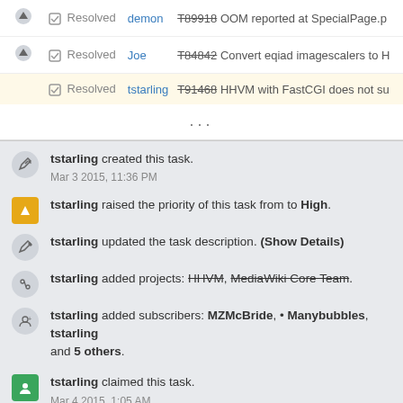|  | Status | User | Task |
| --- | --- | --- | --- |
| ↑ | ✓ Resolved | demon | T89918 OOM reported at SpecialPage.p |
| ↑ | ✓ Resolved | Joe | T84842 Convert eqiad imagescalers to H |
|  | ✓ Resolved | tstarling | T91468 HHVM with FastCGI does not su |
...
tstarling created this task. Mar 3 2015, 11:36 PM
tstarling raised the priority of this task from to High.
tstarling updated the task description. (Show Details)
tstarling added projects: HHVM, MediaWiki Core Team.
tstarling added subscribers: MZMcBride, • Manybubbles, tstarling and 5 others.
tstarling claimed this task. Mar 4 2015, 1:05 AM
jeremyb added a subscriber: jeremyb. Mar 5 2015, 5:42 AM